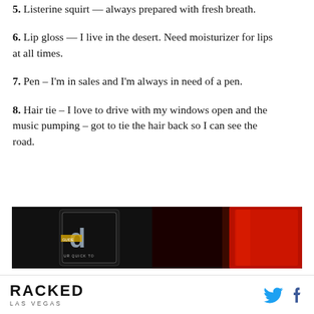5. Listerine squirt — always prepared with fresh breath.
6. Lip gloss — I live in the desert. Need moisturizer for lips at all times.
7. Pen – I'm in sales and I'm always in need of a pen.
8. Hair tie – I love to drive with my windows open and the music pumping – got to tie the hair back so I can see the road.
[Figure (photo): Dark background photo showing a card/book with dark cover featuring stylized letters, and a red object (possibly a wallet or book) partially visible on the right side.]
RACKED LAS VEGAS [Twitter icon] [Facebook icon]